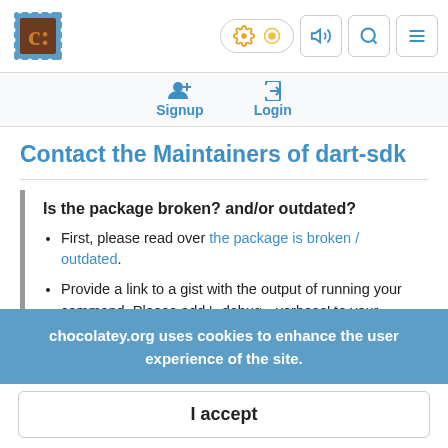[Figure (logo): Chocolatey logo – brown 'C' on blue stamp background]
Signup Login
Contact the Maintainers of dart-sdk
Is the package broken? and/or outdated?
First, please read over the package is broken / outdated.
Provide a link to a gist with the output of running your command. Please add '--debug --verbose' to your
chocolatey.org uses cookies to enhance the user experience of the site.
I accept